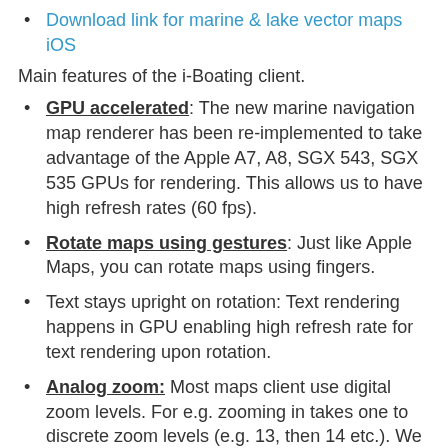Download link for marine & lake vector maps iOS
Main features of the i-Boating client.
GPU accelerated: The new marine navigation map renderer has been re-implemented to take advantage of the Apple A7, A8, SGX 543, SGX 535 GPUs for rendering. This allows us to have high refresh rates (60 fps).
Rotate maps using gestures: Just like Apple Maps, you can rotate maps using fingers.
Text stays upright on rotation: Text rendering happens in GPU enabling high refresh rate for text rendering upon rotation.
Analog zoom: Most maps client use digital zoom levels. For e.g. zooming in takes one to discrete zoom levels (e.g. 13, then 14 etc.). We support analog zoom i.e. when you zoom in/out, the app takes you to more finer zoom levels (e.g. 13. 01, 13.02, 13. 03... and so on).
Advanced Collision detection on client: When